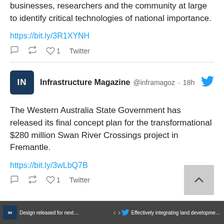businesses, researchers and the community at large to identify critical technologies of national importance.
https://bit.ly/3R1XYNH
♡ ↺ ♡ 1  Twitter
Infrastructure Magazine @inframagoz · 18h
The Western Australia State Government has released its final concept plan for the transformational $280 million Swan River Crossings project in Fremantle.
https://bit.ly/3wLbQ7B
♡ ↺ ♡ 1  Twitter
Design released for next stage of WestC... < > Infrastructure Magazine @in Effectively integrating land development ...